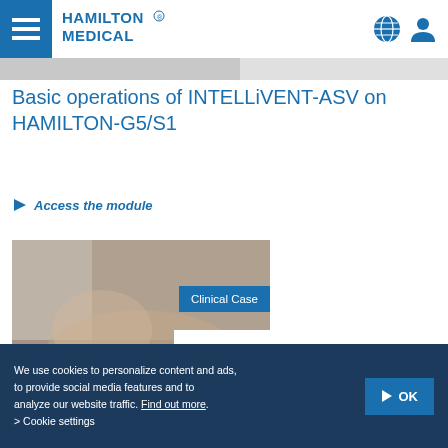Hamilton Medical
[Figure (screenshot): Partial image strip showing a device screen]
Basic operations of INTELLiVENT-ASV on HAMILTON-G5/S1
Access the module
[Figure (photo): Clinical photo of a patient on ventilation with Clinical Case badge and INTELLiVENT ASV logo overlay]
We use cookies to personalize content and ads, to provide social media features and to analyze our website traffic. Find out more. > Cookie settings